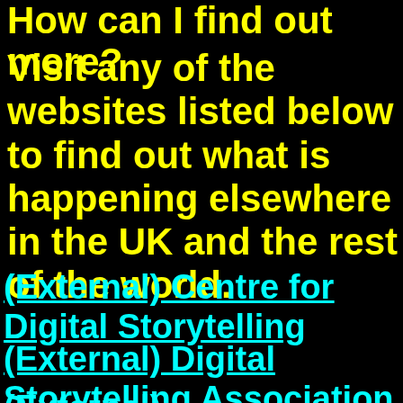How can I find out more?
Visit any of the websites listed below to find out what is happening elsewhere in the UK and the rest of the world.
(External) Centre for Digital Storytelling
(External) Digital Storytelling Association
(External)